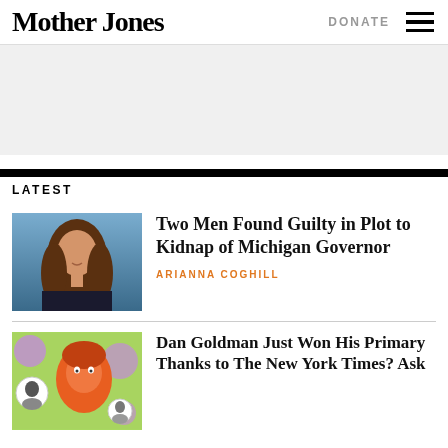Mother Jones
DONATE
[Figure (other): Ad banner placeholder, light gray background]
LATEST
[Figure (photo): Photo of a smiling woman with long brown hair against a blue curtain background — Michigan Governor Gretchen Whitmer]
Two Men Found Guilty in Plot to Kidnap of Michigan Governor
ARIANNA COGHILL
[Figure (illustration): Colorful illustrated graphic showing stylized portrait figures with colorful pop-art background — green, orange, purple circles]
Dan Goldman Just Won His Primary Thanks to The New York Times? Ask...